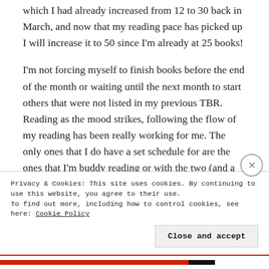which I had already increased from 12 to 30 back in March, and now that my reading pace has picked up I will increase it to 50 since I'm already at 25 books!
I'm not forcing myself to finish books before the end of the month or waiting until the next month to start others that were not listed in my previous TBR. Reading as the mood strikes, following the flow of my reading has been really working for me. The only ones that I do have a set schedule for are the ones that I'm buddy reading or with the two (and a half) book clubs I'm in.
Privacy & Cookies: This site uses cookies. By continuing to use this website, you agree to their use.
To find out more, including how to control cookies, see here: Cookie Policy
Close and accept